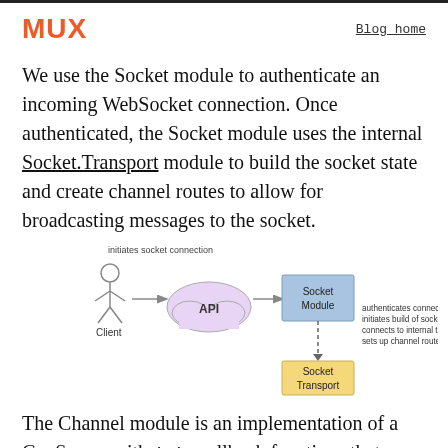MUX   Blog home
We use the Socket module to authenticate an incoming WebSocket connection. Once authenticated, the Socket module uses the internal Socket.Transport module to build the socket state and create channel routes to allow for broadcasting messages to the socket.
[Figure (flowchart): Diagram showing: Client (stick figure) -> API (cloud shape) -> Socket Module (blue box). Socket Module connects via dashed line down to Socket Transport (yellow box). Label 'initiates socket connection' above the arrow from Client to API. Label to the right of Socket Module: 'authenticates connection, initiates build of socket, connects to internal transports, sets up channel routes for socket']
The Channel module is an implementation of a GenServer with join callback functions that